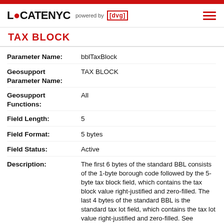LOCATE NYC powered by [dvg]
TAX BLOCK
| Parameter Name | Value |
| --- | --- |
| Parameter Name: | bblTaxBlock |
| Geosupport Parameter Name: | TAX BLOCK |
| Geosupport Functions: | All |
| Field Length: | 5 |
| Field Format: | 5 bytes |
| Field Status: | Active |
| Description: | The first 6 bytes of the standard BBL consists of the 1-byte borough code followed by the 5-byte tax block field, which contains the tax block value right-justified and zero-filled. The last 4 bytes of the standard BBL is the standard tax lot field, which contains the tax lot value right-justified and zero-filled. See Chapter VI.8. The BBL ('borough-block-and-lot') identifies |